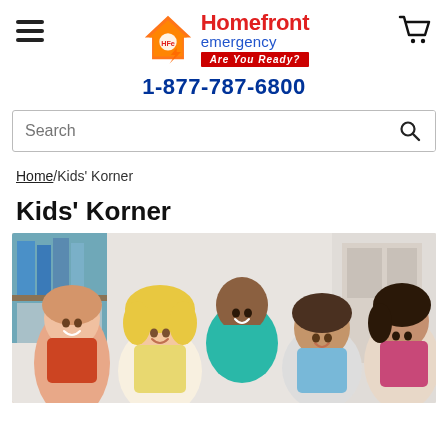Homefront Emergency - Are You Ready? | 1-877-787-6800
Search
Home / Kids' Korner
Kids' Korner
[Figure (photo): Group of happy smiling children of diverse ethnicities in a classroom setting, looking upward]